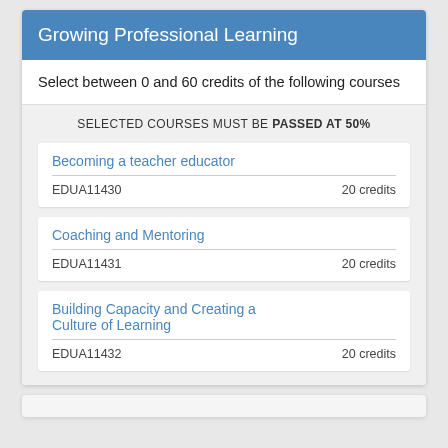Growing Professional Learning
Select between 0 and 60 credits of the following courses
SELECTED COURSES MUST BE PASSED AT 50%
Becoming a teacher educator — EDUA11430 — 20 credits
Coaching and Mentoring — EDUA11431 — 20 credits
Building Capacity and Creating a Culture of Learning — EDUA11432 — 20 credits